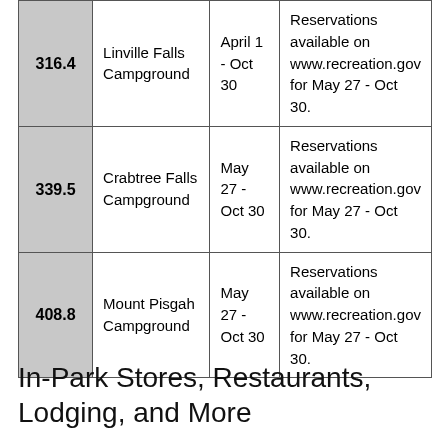|  |  |  |  |
| --- | --- | --- | --- |
| 316.4 | Linville Falls Campground | April 1 - Oct 30 | Reservations available on www.recreation.gov for May 27 - Oct 30. |
| 339.5 | Crabtree Falls Campground | May 27 - Oct 30 | Reservations available on www.recreation.gov for May 27 - Oct 30. |
| 408.8 | Mount Pisgah Campground | May 27 - Oct 30 | Reservations available on www.recreation.gov for May 27 - Oct 30. |
In-Park Stores, Restaurants, Lodging, and More